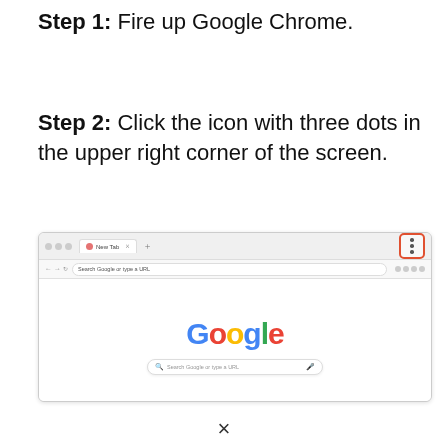Step 1: Fire up Google Chrome.
Step 2: Click the icon with three dots in the upper right corner of the screen.
[Figure (screenshot): Screenshot of Google Chrome browser window showing the Google homepage, with the three-dot menu button in the upper right corner highlighted with a red/orange rounded rectangle border.]